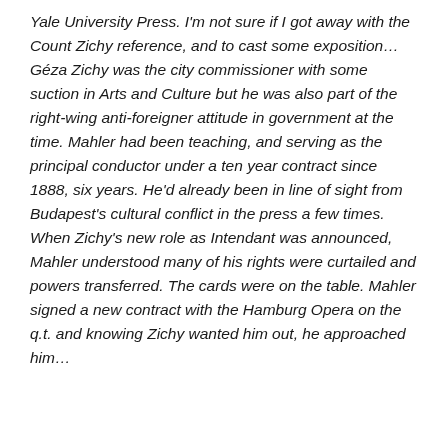Yale University Press. I'm not sure if I got away with the Count Zichy reference, and to cast some exposition… Géza Zichy was the city commissioner with some suction in Arts and Culture but he was also part of the right-wing anti-foreigner attitude in government at the time. Mahler had been teaching, and serving as the principal conductor under a ten year contract since 1888, six years. He'd already been in line of sight from Budapest's cultural conflict in the press a few times. When Zichy's new role as Intendant was announced, Mahler understood many of his rights were curtailed and powers transferred. The cards were on the table. Mahler signed a new contract with the Hamburg Opera on the q.t. and knowing Zichy wanted him out, he approached him…